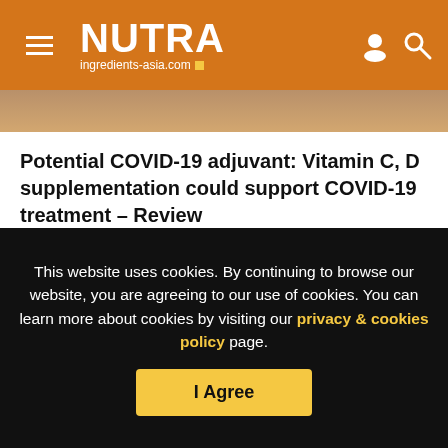NUTRA ingredients-asia.com
[Figure (photo): Partial photo of a person, warm skin-tone colors, top portion cut off at header]
Potential COVID-19 adjuvant: Vitamin C, D supplementation could support COVID-19 treatment – Review
[Figure (logo): WilliamReed. logo in bold serif font]
This website uses cookies. By continuing to browse our website, you are agreeing to our use of cookies. You can learn more about cookies by visiting our privacy & cookies policy page.
I Agree